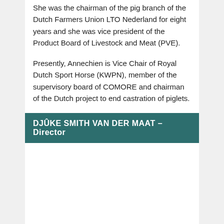She was the chairman of the pig branch of the Dutch Farmers Union LTO Nederland for eight years and she was vice president of the Product Board of Livestock and Meat (PVE).
Presently, Annechien is Vice Chair of Royal Dutch Sport Horse (KWPN), member of the supervisory board of COMORE and chairman of the Dutch project to end castration of piglets.
DJÛKE SMITH VAN DER MAAT – Director
Email: info@nuffield.nl
Djûke Smith van der Maat is a 4th